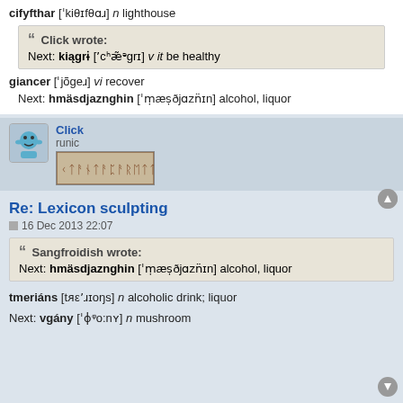cifyfthar ['kiθɪfθɑɹ] n lighthouse
Click wrote: Next: kiągrı ['cʰæ̃ᵊgrɪ] v it be healthy
giancer ['jõgeɹ] vi recover
Next: hmäsdjaznghin ['mæṣðjɑzn̈ɪn] alcohol, liquor
Click runic [runic image]
Re: Lexicon sculpting
16 Dec 2013 22:07
Sangfroidish wrote: Next: hmäsdjaznghin ['mæṣðjɑzn̈ɪn] alcohol, liquor
tmeriáns [tmɛ'ɪɪoŋs] n alcoholic drink; liquor
Next: vgány ['ɸᶠo:nʏ] n mushroom